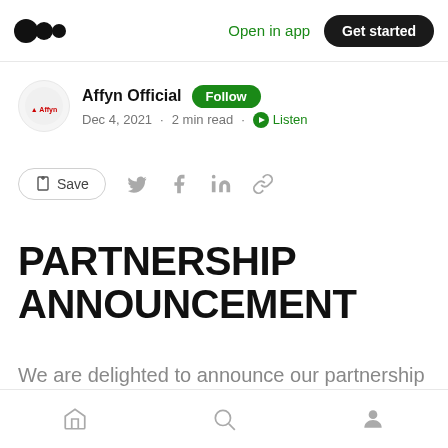Medium — Open in app · Get started
Affyn Official · Follow · Dec 4, 2021 · 2 min read · Listen
Save (social share icons)
PARTNERSHIP ANNOUNCEMENT
We are delighted to announce our partnership with MH Ventures.
Home · Search · Profile